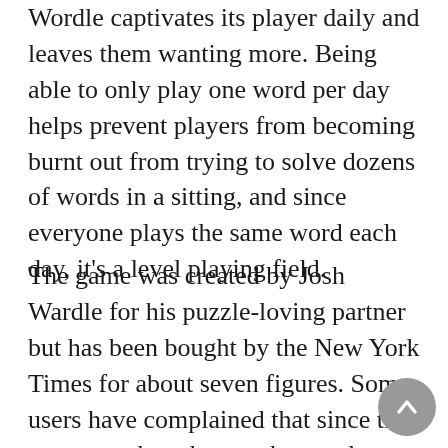Wordle captivates its player daily and leaves them wanting more. Being able to only play one word per day helps prevent players from becoming burnt out from trying to solve dozens of words in a sitting, and since everyone plays the same word each day, it's a level playing field.
The game was created by Josh Wardle for his puzzle-loving partner but has been bought by the New York Times for about seven figures. Some users have complained that since the game was bought out, the words have become more difficult than before.